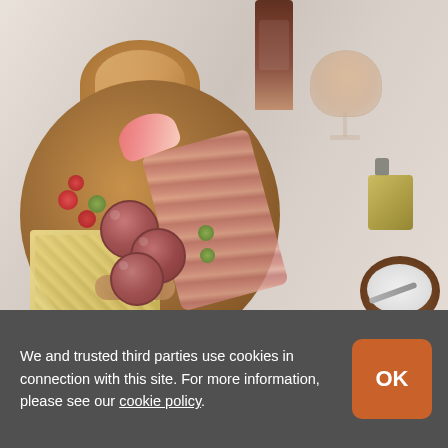[Figure (photo): Overhead view of a charcuterie board on marble surface with prosciutto, salami, cheese, olives, almonds, apple slices, cherry tomatoes, bread, wine bottle, rosé wine glass, oil bottle, and salt bowl with spoon.]
We and trusted third parties use cookies in connection with this site. For more information, please see our cookie policy.